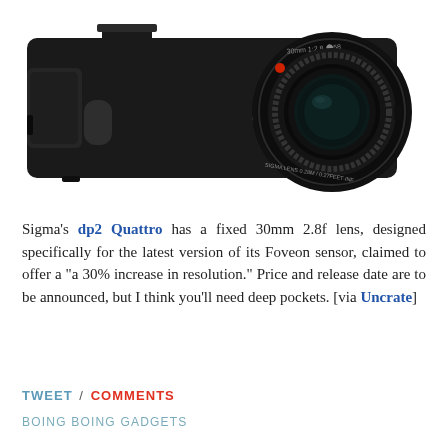[Figure (photo): Sigma dp2 Quattro compact camera with fixed 30mm 2.8f lens on a white background. The camera is black with a large circular lens on the right side labeled 'dp2'.]
Sigma's dp2 Quattro has a fixed 30mm 2.8f lens, designed specifically for the latest version of its Foveon sensor, claimed to offer a "a 30% increase in resolution." Price and release date are to be announced, but I think you'll need deep pockets. [via Uncrate]
TWEET / COMMENTS
BOING BOING GADGETS